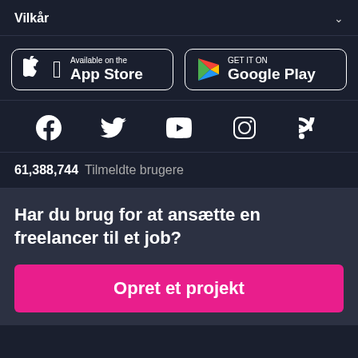Vilkår
[Figure (logo): App Store and Google Play store download buttons]
[Figure (infographic): Social media icons: Facebook, Twitter, YouTube, Instagram, RSS]
61,388,744  Tilmeldte brugere
Har du brug for at ansætte en freelancer til et job?
Opret et projekt